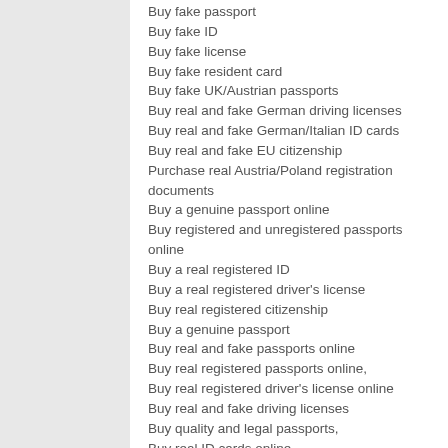Buy fake passport
Buy fake ID
Buy fake license
Buy fake resident card
Buy fake UK/Austrian passports
Buy real and fake German driving licenses
Buy real and fake German/Italian ID cards
Buy real and fake EU citizenship
Purchase real Austria/Poland registration documents
Buy a genuine passport online
Buy registered and unregistered passports online
Buy a real registered ID
Buy a real registered driver's license
Buy real registered citizenship
Buy a genuine passport
Buy real and fake passports online
Buy real registered passports online,
Buy real registered driver's license online
Buy real and fake driving licenses
Buy quality and legal passports,
Buy real ID cards online
Buy real and fake driving licenses online,
Buy real/fake residence permit online